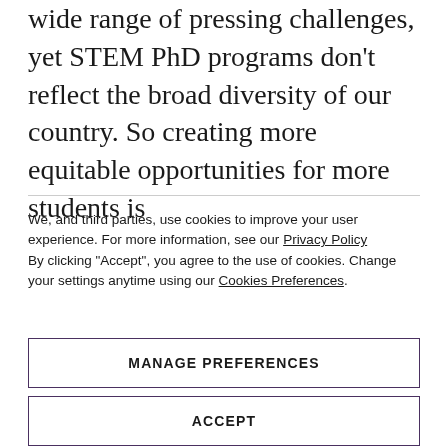wide range of pressing challenges, yet STEM PhD programs don't reflect the broad diversity of our country. So creating more equitable opportunities for more students is
We, and third parties, use cookies to improve your user experience. For more information, see our Privacy Policy By clicking "Accept", you agree to the use of cookies. Change your settings anytime using our Cookies Preferences.
MANAGE PREFERENCES
ACCEPT